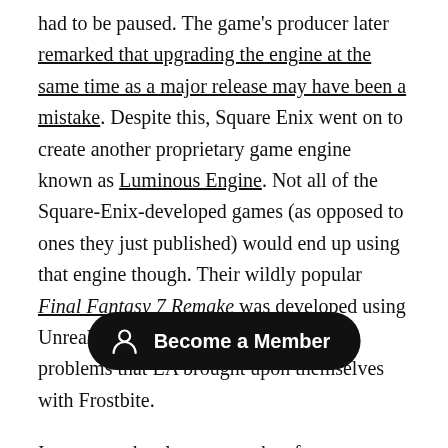had to be paused. The game's producer later remarked that upgrading the engine at the same time as a major release may have been a mistake. Despite this, Square Enix went on to create another proprietary game engine known as Luminous Engine. Not all of the Square-Enix-developed games (as opposed to ones they just published) would end up using that engine though. Their wildly popular Final Fantasy 7 Remake was developed using Unreal, thus avoiding some of the same problems that EA brought upon themselves with Frostbite.
In a recent development update from Bethesda, they talked about needing to divert a large amount of money and resources towards their Creation Engine so it was fit for the development needs of both S[tarfield and The Elder Scrolls 6]. That sort of investment was a[lways going to be necessary for] Bethesda as their games were starting to feel old and the
[Figure (other): Black pill-shaped 'Become a Member' button overlay with a person/user icon on the left]